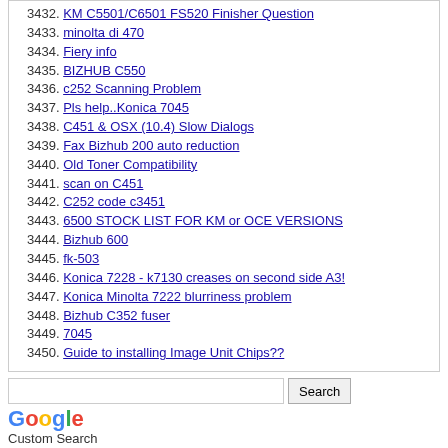3432. KM C5501/C6501 FS520 Finisher Question
3433. minolta di 470
3434. Fiery info
3435. BIZHUB C550
3436. c252 Scanning Problem
3437. Pls help..Konica 7045
3438. C451 & OSX (10.4) Slow Dialogs
3439. Fax Bizhub 200 auto reduction
3440. Old Toner Compatibility
3441. scan on C451
3442. C252 code c3451
3443. 6500 STOCK LIST FOR KM or OCE VERSIONS
3444. Bizhub 600
3445. fk-503
3446. Konica 7228 - k7130 creases on second side A3!
3447. Konica Minolta 7222 blurriness problem
3448. Bizhub C352 fuser
3449. 7045
3450. Guide to installing Image Unit Chips??
Google Custom Search
Powered by vBulletin® Version 4.2.5 Copyright © 2022 vBulletin Solutions Inc. All rights reserved.